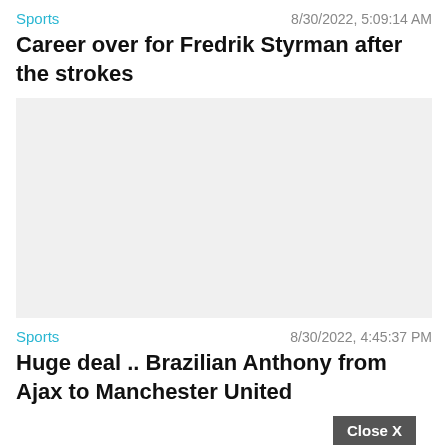Sports    8/30/2022, 5:09:14 AM
Career over for Fredrik Styrman after the strokes
[Figure (photo): Light gray placeholder image for article about Fredrik Styrman]
Sports    8/30/2022, 4:45:37 PM
Huge deal .. Brazilian Anthony from Ajax to Manchester United
[Figure (screenshot): Advertisement banner for 'Hold and Move' game showing 3D figures and a Close X button]